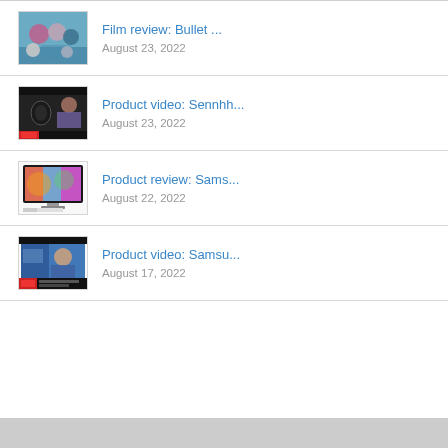Film review: Bullet ... August 23, 2022
Product video: Sennhh... August 23, 2022
Product review: Sams... August 22, 2022
Product video: Samsu... August 17, 2022